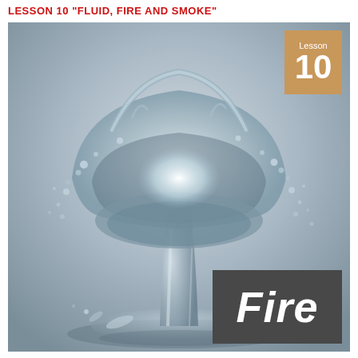LESSON 10 "FLUID, FIRE AND SMOKE"
[Figure (photo): A dramatic water sculpture forming a mushroom cloud shape, photographed against a gray gradient background. The water forms a stem rising from a splash at the base, expanding into a large rounded cap with water droplets, resembling an atomic mushroom cloud. The image is in cool blue-gray tones.]
Lesson 10
Fire